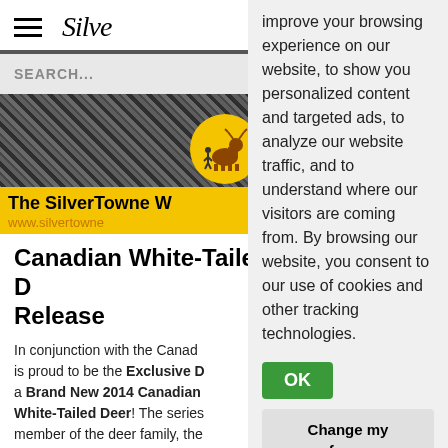Silver (logo)
SEARCH...
[Figure (photo): Banner image showing The SilverTowne website banner with yellow overlay, deer logo circle, bold text 'The SilverTowne W' and URL 'www.silvertowne']
Canadian White-Tailed D Release
In conjunction with the Canad is proud to be the Exclusive D a Brand New 2014 Canadian White-Tailed Deer! The series member of the deer family, the different perspectives. This se
improve your browsing experience on our website, to show you personalized content and targeted ads, to analyze our website traffic, and to understand where our visitors are coming from. By browsing our website, you consent to our use of cookies and other tracking technologies.
OK
Change my preferences